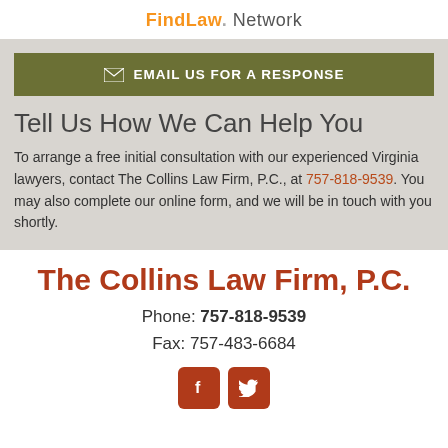FindLaw. Network
EMAIL US FOR A RESPONSE
Tell Us How We Can Help You
To arrange a free initial consultation with our experienced Virginia lawyers, contact The Collins Law Firm, P.C., at 757-818-9539. You may also complete our online form, and we will be in touch with you shortly.
The Collins Law Firm, P.C.
Phone: 757-818-9539
Fax: 757-483-6684
[Figure (logo): Facebook and Twitter social media icon buttons in dark red/brown color]